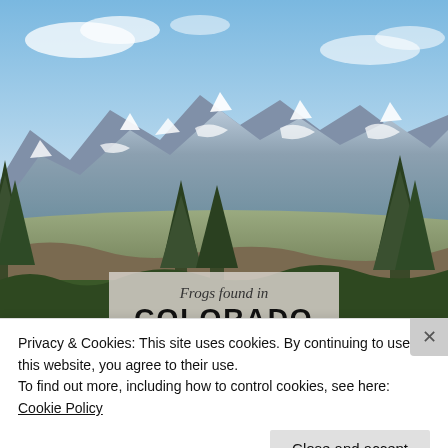[Figure (photo): Photograph of snow-capped Rocky Mountain peaks with pine trees in the foreground and blue sky above. An overlay box reads 'Frogs found in COLORADO'.]
Privacy & Cookies: This site uses cookies. By continuing to use this website, you agree to their use.
To find out more, including how to control cookies, see here: Cookie Policy